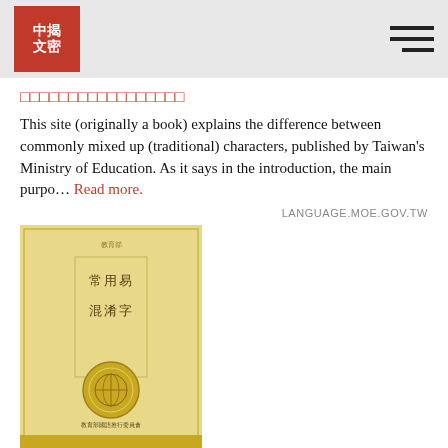中揭文密 (logo) | hamburger menu
□□□□□□□□□□□□□□□□□
This site (originally a book) explains the difference between commonly mixed up (traditional) characters, published by Taiwan's Ministry of Education. As it says in the introduction, the main purpo… Read more.
LANGUAGE.MOE.GOV.TW
[Figure (photo): Book cover with yellow/gold background, Chinese text reading 常用易混淆字, with an emblem/seal at the bottom center, and a gold band at the bottom.]
Advanced
Intermediate
Vocabulary
Information-and-Advice
Resource-highlights
Book
Characters
Traditional-Characters
Web
Olle Linge – almost 2 years | 2 likes | 0 comments